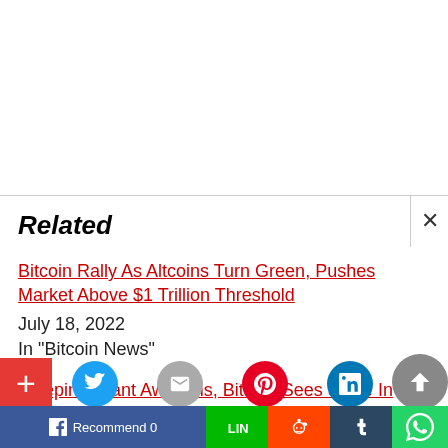Related
Bitcoin Rally As Altcoins Turn Green, Pushes Market Above $1 Trillion Threshold
July 18, 2022
In "Bitcoin News"
Sleeping Giant Awakens, Bitcoin Sees Spike In Transactions Valued Above $1 Million
July 18, 2022
In "Bitcoin News"